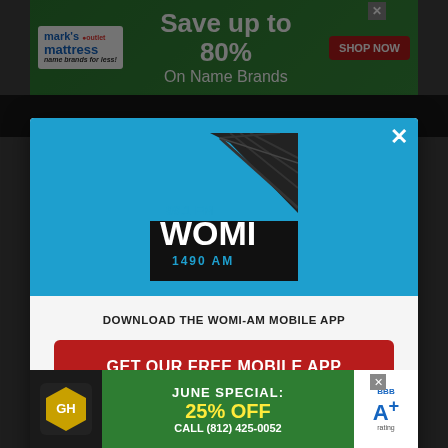[Figure (screenshot): Website page dimmed in background behind a modal popup overlay]
[Figure (photo): Mark's Mattress advertisement banner at top - Save up to 80% On Name Brands with SHOP NOW button]
[Figure (logo): 99.1 FM WOMI 1490 AM radio station logo in teal/blue modal header]
DOWNLOAD THE WOMI-AM MOBILE APP
GET OUR FREE MOBILE APP
Also listen on:  amazon alexa
[Figure (photo): Gutter Helmet advertisement at bottom - June Special: 25% Off, Call (812) 425-0052, BBB A+ rating]